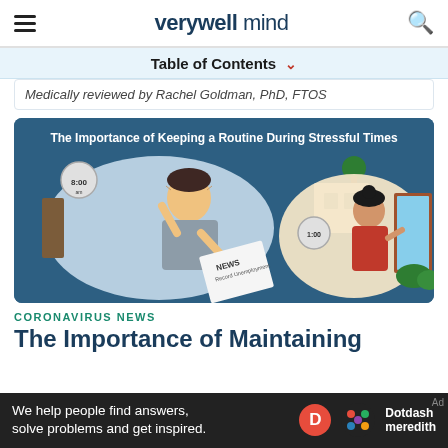verywell mind
Table of Contents
Medically reviewed by Rachel Goldman, PhD, FTOS
[Figure (illustration): Illustration titled 'The Importance of Keeping a Routine During Stressful Times' showing a stressed man reading a newspaper with headlines about unemployment on the left, and a calm woman looking outside on the right, on a dark blue background.]
CORONAVIRUS NEWS
The Importance of Maintaining
We help people find answers, solve problems and get inspired. Dotdash meredith